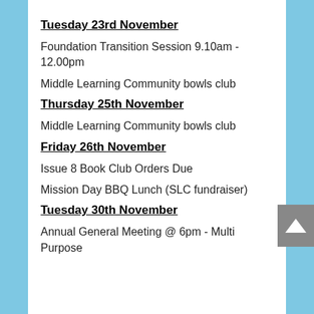Tuesday 23rd November
Foundation Transition Session 9.10am - 12.00pm
Middle Learning Community bowls club
Thursday 25th November
Middle Learning Community bowls club
Friday 26th November
Issue 8 Book Club Orders Due
Mission Day BBQ Lunch (SLC fundraiser)
Tuesday 30th November
Annual General Meeting @ 6pm - Multi Purpose